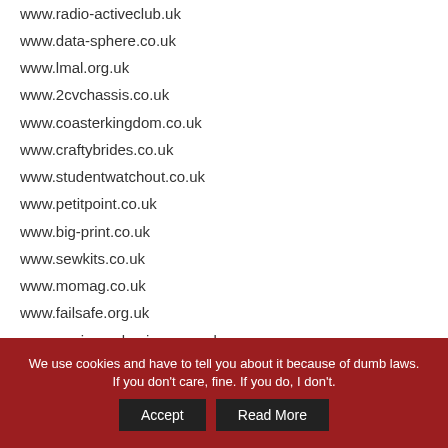www.radio-activeclub.uk
www.data-sphere.co.uk
www.lmal.org.uk
www.2cvchassis.co.uk
www.coasterkingdom.co.uk
www.craftybrides.co.uk
www.studentwatchout.co.uk
www.petitpoint.co.uk
www.big-print.co.uk
www.sewkits.co.uk
www.momag.co.uk
www.failsafe.org.uk
www.equinox-ebusiness.co.uk
www.bbsolutions.co.uk
www.hammondgallery.co.uk
www.400times.co.uk
We use cookies and have to tell you about it because of dumb laws. If you don't care, fine. If you do, I don't.